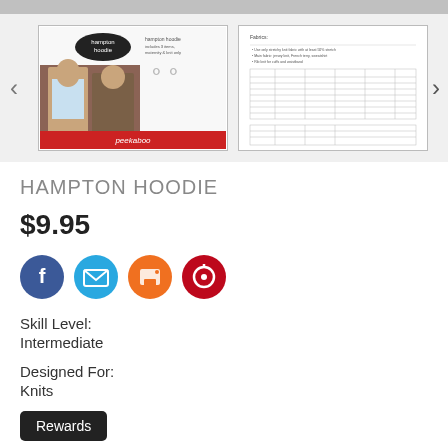[Figure (screenshot): Product thumbnail image 1: Hampton Hoodie sewing pattern cover with two women wearing hoodies, peekaboo brand]
[Figure (screenshot): Product thumbnail image 2: Size chart/instructions page for Hampton Hoodie pattern]
HAMPTON HOODIE
$9.95
[Figure (infographic): Social sharing icons: Facebook (blue circle), Email (light blue circle), Print (orange circle), Pinterest (red circle)]
Skill Level:
Intermediate
Designed For:
Knits
Rewards
Printing Format: